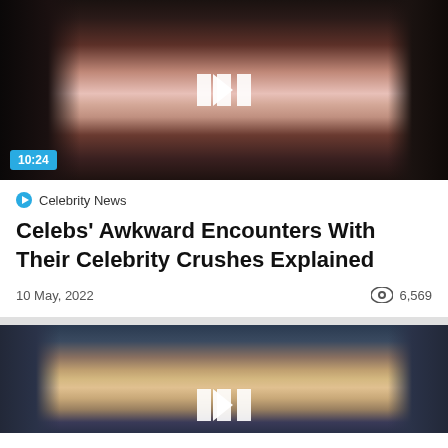[Figure (photo): Close-up photo of a woman with dark curly hair, showing her lower face and neck, with a video play button overlay and duration badge showing 10:24]
Celebrity News
Celebs' Awkward Encounters With Their Celebrity Crushes Explained
10 May, 2022   6,569
[Figure (photo): Close-up photo of a woman with blonde/brown hair and green eyes, showing her full face, with a video play button overlay]